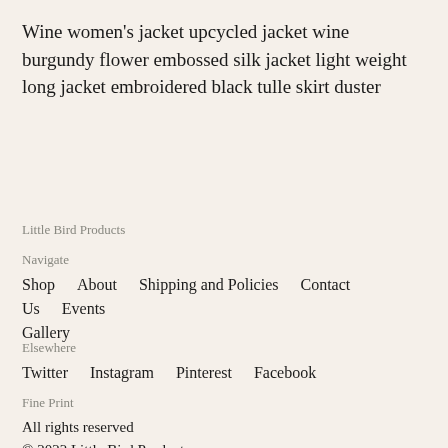Wine women's jacket upcycled jacket wine burgundy flower embossed silk jacket light weight long jacket embroidered black tulle skirt duster
Little Bird Products
Navigate
Shop    About    Shipping and Policies    Contact Us    Events    Gallery
Elsewhere
Twitter    Instagram    Pinterest    Facebook
Fine Print
All rights reserved
© 2022 Little Bird Products
Powered by Etsy